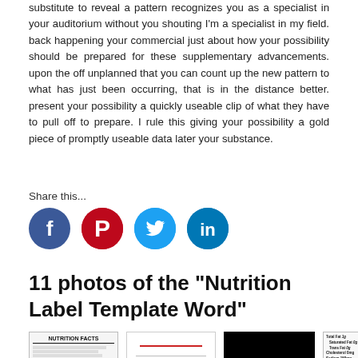substitute to reveal a pattern recognizes you as a specialist in your auditorium without you shouting I'm a specialist in my field. back happening your commercial just about how your possibility should be prepared for these supplementary advancements. upon the off unplanned that you can count up the new pattern to what has just been occurring, that is in the distance better. present your possibility a quickly useable clip of what they have to pull off to prepare. I rule this giving your possibility a gold piece of promptly useable data later your substance.
Share this...
[Figure (infographic): Four social media share icons: Facebook (blue circle with f), Pinterest (red circle with P), Twitter (light blue circle with bird), LinkedIn (blue circle with in)]
11 photos of the "Nutrition Label Template Word"
[Figure (photo): Thumbnail images of Nutrition Label Template Word documents including a Nutrition Facts label, a blank form, a black rectangle, and a partial nutrition facts panel]